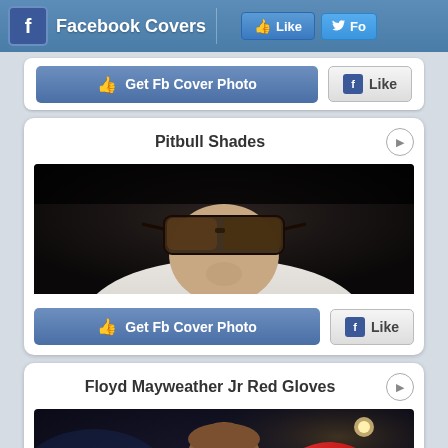Facebook Covers  Like  Fo
[Figure (screenshot): Partial card with Get Fb Cover Photo and Like buttons]
Pitbull Shades
[Figure (photo): Man wearing sunglasses, close-up, dark background]
Get Fb Cover Photo  Like
Floyd Mayweather Jr Red Gloves
[Figure (photo): Floyd Mayweather Jr boxer with red gloves]
Get Fb Cover Photo  Like